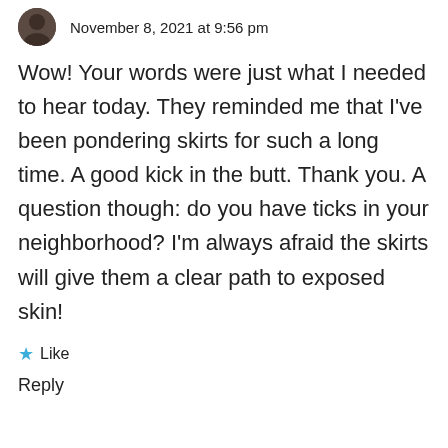November 8, 2021 at 9:56 pm
Wow! Your words were just what I needed to hear today. They reminded me that I’ve been pondering skirts for such a long time. A good kick in the butt. Thank you. A question though: do you have ticks in your neighborhood? I’m always afraid the skirts will give them a clear path to exposed skin!
★ Like
Reply